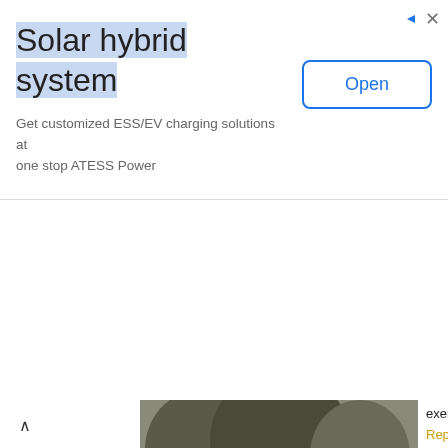[Figure (other): Advertisement banner for Solar hybrid system by ATESS Power with Open button]
[Figure (photo): Collage of black-and-white historical military photographs including soldiers, tanks, and a map of the Leningrad region]
exercise.
Reply
Replies
Anonymous 28 August 20...
A documented exercise t... reality back then.
Anonymous 28 January 2...
which sight exactly?
Anonymous 23 March 20...
What do you think? Invine... praise? Inferior weapons o... on?